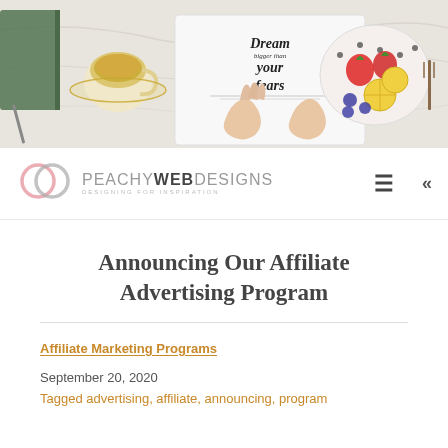[Figure (photo): Hero image showing a flat-lay scene with hands holding a notebook with calligraphy text 'Dream bigger than your fears', a cup of tea on a saucer, a green book, fruit plate with strawberries, lemon slices, and blueberries on a marble surface]
PEACHY WEB DESIGNS — DESIGNING FOR INSPIRATION
Announcing Our Affiliate Advertising Program
Affiliate Marketing Programs
September 20, 2020
Tagged advertising, affiliate, announcing, program